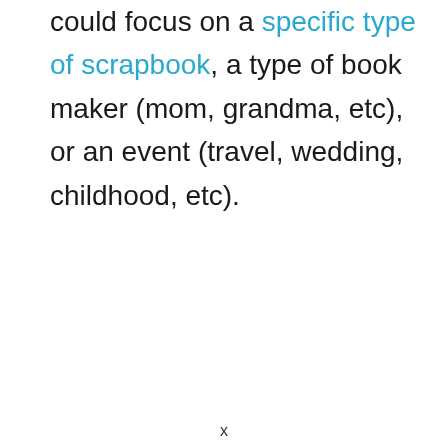could focus on a specific type of scrapbook, a type of book maker (mom, grandma, etc), or an event (travel, wedding, childhood, etc).
x